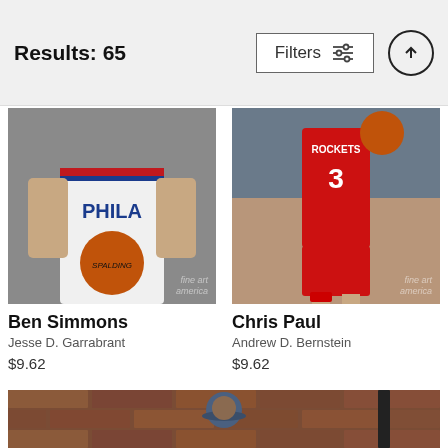Results: 65  Filters
[Figure (photo): Ben Simmons in Philadelphia 76ers white uniform holding a Spalding basketball, studio/media day photo. 'fine art america' watermark visible.]
Ben Simmons
Jesse D. Garrabrant
$9.62
[Figure (photo): Chris Paul in Houston Rockets red uniform #3 dribbling on court during a game, crowd in background. 'fine art america' watermark visible.]
Chris Paul
Andrew D. Bernstein
$9.62
[Figure (photo): Partial view of a basketball player wearing a blue cap in front of a brick wall background — image is cropped at bottom of page.]